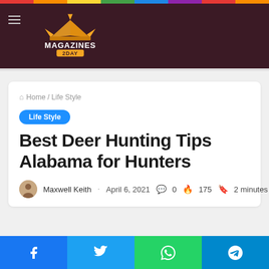Magazines2day
Home / Life Style
Life Style
Best Deer Hunting Tips Alabama for Hunters
Maxwell Keith · April 6, 2021 · 0 · 175 · 2 minutes read
Facebook Twitter WhatsApp Telegram